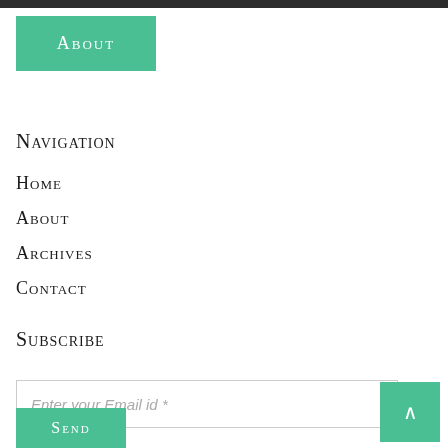About
Navigation
Home
About
Archives
Contact
Subscribe
Enter your Email id *
Send